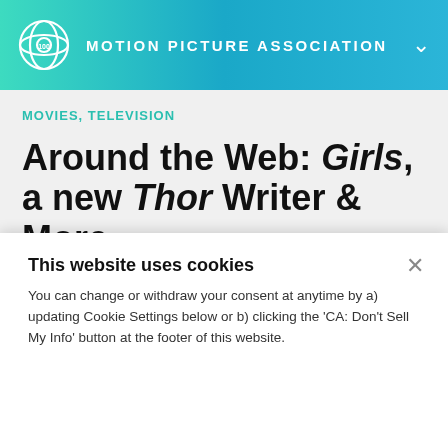MOTION PICTURE ASSOCIATION
MOVIES, TELEVISION
Around the Web: Girls, a new Thor Writer & More
This website uses cookies
You can change or withdraw your consent at anytime by a) updating Cookie Settings below or b) clicking the 'CA: Don't Sell My Info' button at the footer of this website.